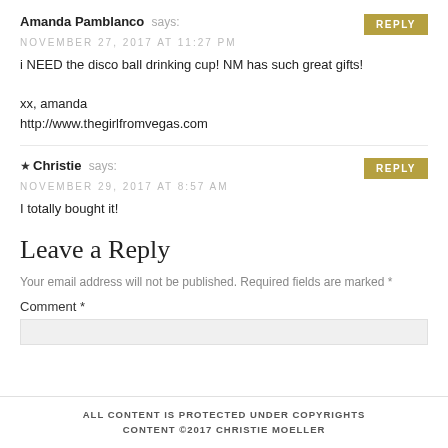Amanda Pamblanco says:
NOVEMBER 27, 2017 AT 11:27 PM
i NEED the disco ball drinking cup! NM has such great gifts!

xx, amanda
http://www.thegirlfromvegas.com
Christie says:
NOVEMBER 29, 2017 AT 8:57 AM
I totally bought it!
Leave a Reply
Your email address will not be published. Required fields are marked *
Comment *
ALL CONTENT IS PROTECTED UNDER COPYRIGHTS CONTENT ©2017 CHRISTIE MOELLER